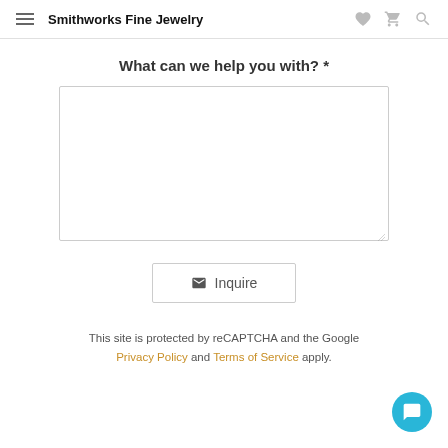Smithworks Fine Jewelry
What can we help you with? *
[Figure (other): Empty textarea input box for user inquiry]
Inquire
This site is protected by reCAPTCHA and the Google Privacy Policy and Terms of Service apply.
[Figure (other): Blue circular chat widget button in bottom-right corner]